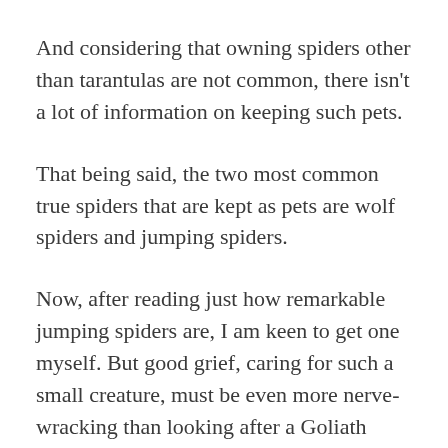And considering that owning spiders other than tarantulas are not common, there isn't a lot of information on keeping such pets.
That being said, the two most common true spiders that are kept as pets are wolf spiders and jumping spiders.
Now, after reading just how remarkable jumping spiders are, I am keen to get one myself. But good grief, caring for such a small creature, must be even more nerve-wracking than looking after a Goliath birdeater.
What if Spinderella escapes from her tiniest of enclosures, I would be heartbroken!